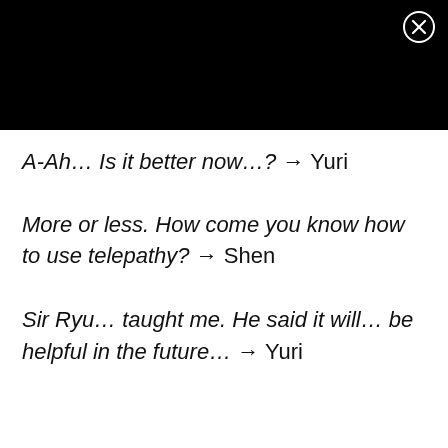[Figure (illustration): Black rectangle at top of screen, representing a video or image panel with a close (X) button in the top-right corner]
A-Ah… Is it better now…? → Yuri
More or less. How come you know how to use telepathy? → Shen
Sir Ryu… taught me. He said it will… be helpful in the future… → Yuri